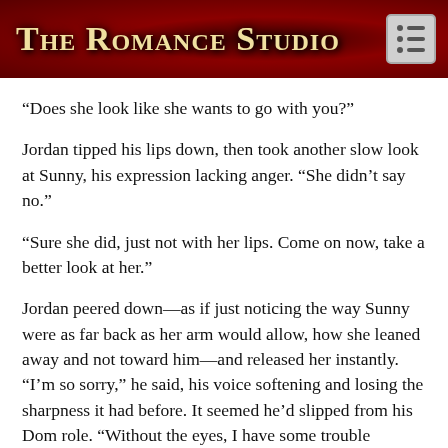The Romance Studio
“Does she look like she wants to go with you?”
Jordan tipped his lips down, then took another slow look at Sunny, his expression lacking anger. “She didn’t say no.”
“Sure she did, just not with her lips. Come on now, take a better look at her.”
Jordan peered down—as if just noticing the way Sunny were as far back as her arm would allow, how she leaned away and not toward him—and released her instantly. “I’m so sorry,” he said, his voice softening and losing the sharpness it had before. It seemed he’d slipped from his Dom role. “Without the eyes, I have some trouble reading cues, I guess.”